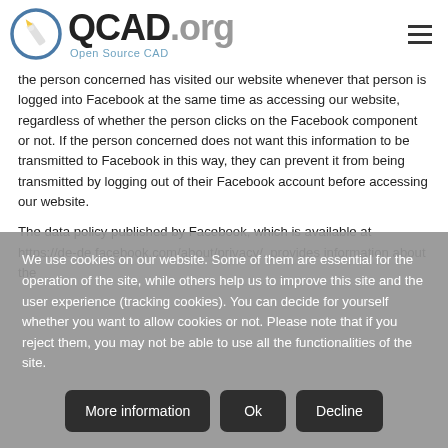QCAD.org Open Source CAD
the person concerned has visited our website whenever that person is logged into Facebook at the same time as accessing our website, regardless of whether the person clicks on the Facebook component or not. If the person concerned does not want this information to be transmitted to Facebook in this way, they can prevent it from being transmitted by logging out of their Facebook account before accessing our website.
The data policy published by Facebook, which is available at https://de-de.facebook.com/about/privacy/, provides information about the
We use cookies on our website. Some of them are essential for the operation of the site, while others help us to improve this site and the user experience (tracking cookies). You can decide for yourself whether you want to allow cookies or not. Please note that if you reject them, you may not be able to use all the functionalities of the site.